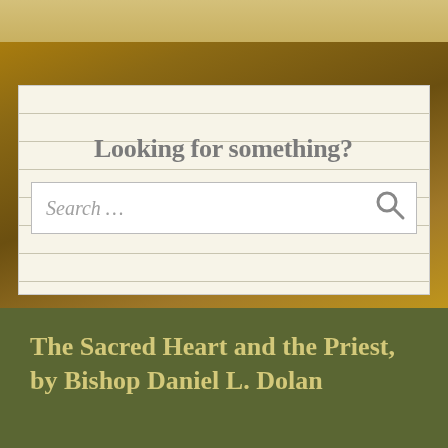[Figure (other): Ornate golden background with decorative dark motifs, visible behind search panel and below top bar]
Looking for something?
Search …
The Sacred Heart and the Priest, by Bishop Daniel L. Dolan